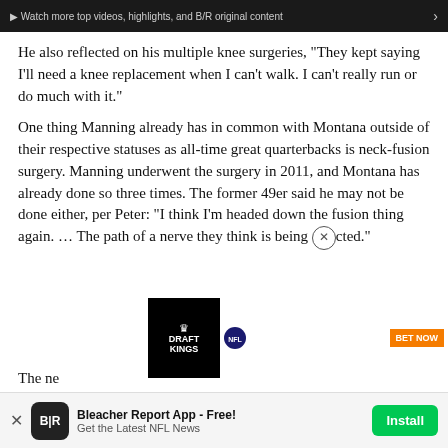[Figure (screenshot): Dark video bar with text: Watch more top videos, highlights, and B/R original content]
He also reflected on his multiple knee surgeries, “They kept saying I’ll need a knee replacement when I can’t walk. I can’t really run or do much with it.”
One thing Manning already has in common with Montana outside of their respective statuses as all-time great quarterbacks is neck-fusion surgery. Manning underwent the surgery in 2011, and Montana has already done so three times. The former 49er said he may not be done either, per Peter: “I think I’m headed down the fusion thing again. … The path of a nerve they think is being affected.”
[Figure (screenshot): DraftKings NFL advertisement: GET IN ON THE NFL ACTION with BET NOW button]
The ne
[Figure (screenshot): Bleacher Report app install banner: Bleacher Report App - Free! Get the Latest NFL News, with Install button]